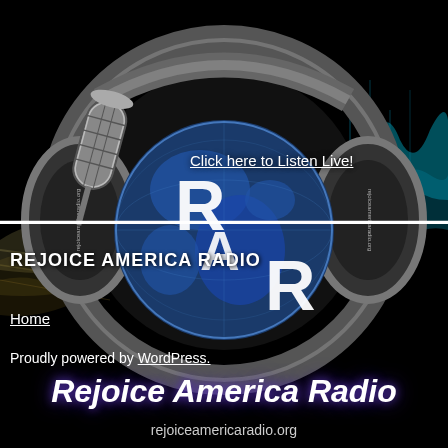[Figure (logo): Rejoice America Radio logo: large headphones over a globe graphic with RAR letters, microphone on left, audio waveform background, all on black background]
Click here to Listen Live!
REJOICE AMERICA RADIO
Home
Proudly powered by WordPress.
Rejoice America Radio
rejoiceamericaradio.org